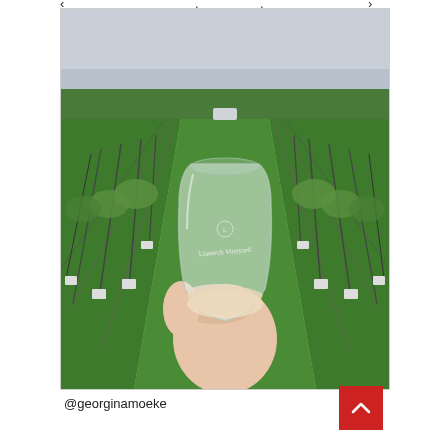[Figure (photo): A hand holding a stemless wine glass with white/rosé wine, branded 'Llanerch Vineyard', in front of rows of green grapevines on a grassy path stretching into the distance under an overcast sky.]
@georginamoeke